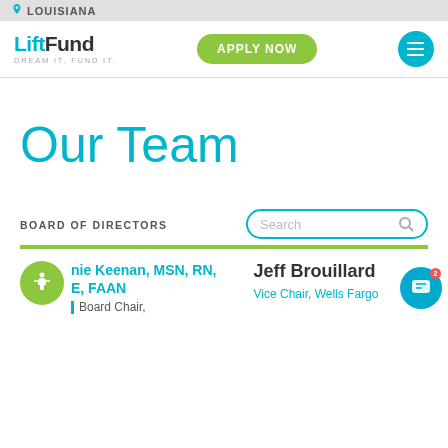LOUISIANA
[Figure (logo): LiftFund logo with tagline DREAM IT. FUND IT.]
Our Team
BOARD OF DIRECTORS
nie Keenan, MSN, RN, E, FAAN
Board Chair,
Jeff Brouillard
Vice Chair, Wells Fargo